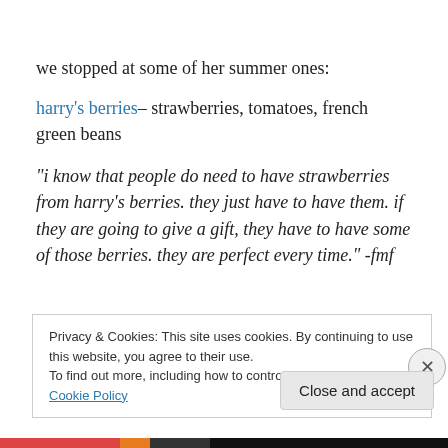we stopped at some of her summer ones:
harry's berries– strawberries, tomatoes, french green beans
“i know that people do need to have strawberries from harry’s berries. they just have to have them. if they are going to give a gift, they have to have some of those berries. they are perfect every time.” -fmf
Privacy & Cookies: This site uses cookies. By continuing to use this website, you agree to their use. To find out more, including how to control cookies, see here: Cookie Policy